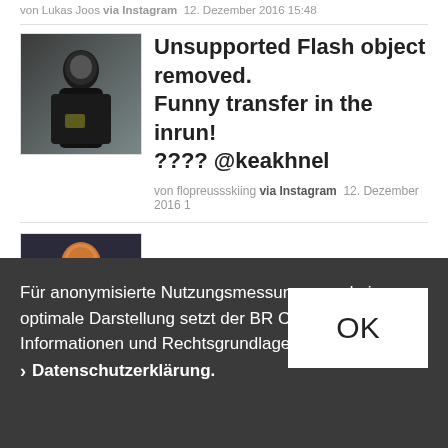von Lukas Joos via Instagram 12. Dezember 2016 15:48
[Figure (photo): Profile photo of a person wearing a dark hoodie against a water background]
Unsupported Flash object removed.
Funny transfer in the inrun!
???? @keakhnel
von flopreussskiing via Instagram 12. Dezember 2016 1
[Figure (photo): Profile photo of a person with reddish/orange hair wearing sports gear]
Für anonymisierte Nutzungsmessungen und eine optimale Darstellung setzt der BR Cookies ein. Informationen und Rechtsgrundlagen finden Sie in der
Datenschutzerklärung.